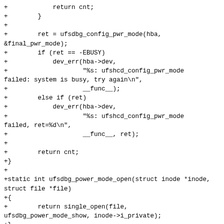[Figure (other): Source code diff showing C code for UFS debug power mode functions including ufsdbg_config_pwr_mode, ufsdbg_power_mode_open, and ufsdbg_power_mode_desc file_operations struct]